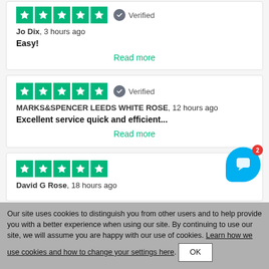[Figure (other): 5-star Trustpilot rating with Verified badge (partial top card for Jo Dix)]
Jo Dix, 3 hours ago
Easy!
Read more
[Figure (other): 5-star Trustpilot rating with Verified badge]
MARKS&SPENCER LEEDS WHITE ROSE, 12 hours ago
Excellent service quick and efficient...
Read more
[Figure (other): 5-star Trustpilot rating (no verified badge)]
David G Rose, 18 hours ago
Our site uses cookies to distinguish you from other users and to help provide you with a better experience when using our site. By continuing to use our site, we will assume you are happy with our use of cookies. Learn how we use cookies and how to change your settings here. OK